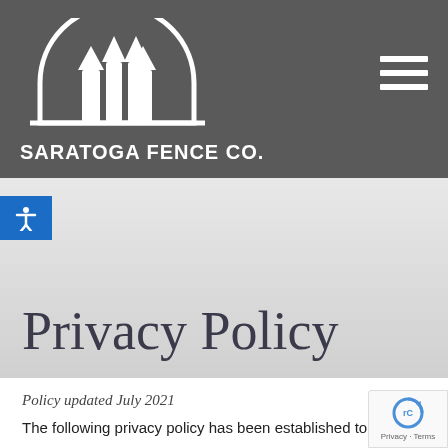[Figure (logo): Saratoga Fence Co. logo — white fence/post icon inside a semicircle arch, on dark gray background, with text SARATOGA FENCE CO. below]
Privacy Policy
Policy updated July 2021
The following privacy policy has been established to